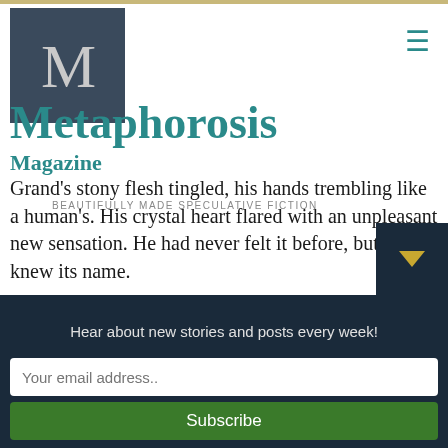[Figure (logo): Metaphorosis Magazine logo — dark blue-grey square with large grey M letter]
Metaphorosis
Magazine
BEAUTIFULLY MADE SPECULATIVE FICTION
Grand's stony flesh tingled, his hands trembling like a human's. His crystal heart flared with an unpleasant new sensation. He had never felt it before, but he knew its name.
Rage.
Not caring if he was seen, Grand swung off the edge of the desk, dangling by one hand. He yanked the hidden drawer so hard that it broke loose. The coins tumbled past, but he snatched the crystal before it could fall
Hear about new stories and posts every week!
Your email address..
Subscribe